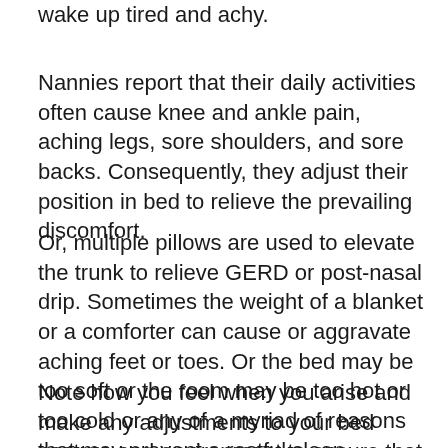wake up tired and achy.
Nannies report that their daily activities often cause knee and ankle pain, aching legs, sore shoulders, and sore backs. Consequently, they adjust their position in bed to relieve the prevailing discomfort.
Or, multiple pillows are used to elevate the trunk to relieve GERD or post-nasal drip. Sometimes the weight of a blanket or a comforter can cause or aggravate aching feet or toes. Or the bed may be too soft or the room may be too hot or too cold or any of a myriad of reasons that may prevent a restful sleep.
Note how you feel when you arise and make any adjustments to your bed posture and environment to ensure that you get a sound and restful sleep. You need it and you deserve it. Awareness is the first step to proper